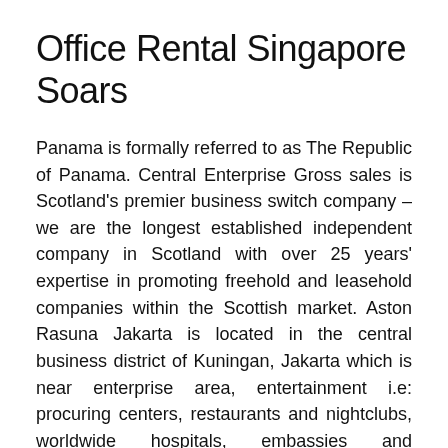Office Rental Singapore Soars
Panama is formally referred to as The Republic of Panama. Central Enterprise Gross sales is Scotland’s premier business switch company – we are the longest established independent company in Scotland with over 25 years’ expertise in promoting freehold and leasehold companies within the Scottish market. Aston Rasuna Jakarta is located in the central business district of Kuningan, Jakarta which is near enterprise area, entertainment i.e: procuring centers, restaurants and nightclubs, worldwide hospitals, embassies and governments.
KONSEP DESAIN EKOLOGIS RUANG TERBUKA HIJAU DI SUBURBAN CENTRAL BUSINESS DISTRICT (SCBD)